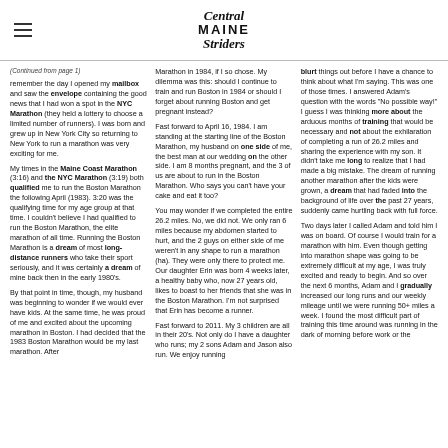Central Maine Striders
(Continued from page 1)

remember the day I opened my mailbox and saw the envelope containing the good news that I had won a spot in the NYC Marathon (they held a lottery to choose a limited number of runners). I was born and grew up in New York City so returning to New York to run a marathon was very exciting for me.

My times in the Maine Coast Marathon (3:16) and the NYC Marathon (3:19) both qualified me to run the Boston Marathon the following April (1983). 3:20 was the qualifying time for my age group at that time. I couldn't believe I had qualified to run the Boston Marathon, the elite marathon of all time. Running the Boston Marathon is a dream of most long-distance runners who take their sport seriously, and it was certainly a dream of mine back then in the early 1980's.

By that point in time, though, my husband was beginning to wonder if we would ever have kids. At the same time, he was proud of me and excited about the upcoming marathon in Boston. I had decided that the 1983 Boston Marathon would be my last marathon. After
Marathon in 1984, if I so chose. My dilemma was this: should I continue to train and run Boston in 1984 or should I forget about running Boston and get pregnant instead?

Fast forward to April 16, 1984. I am standing at the starting line of the Boston Marathon, my husband on one side of me, the best man at our wedding on the other side. I am 8 months pregnant, and the 3 of us are about to run in the Boston Marathon. Who says you can't have your cake and eat it too?

You may wonder if we completed the entire 26.2 miles. No, we did not. We only ran 6 miles because my abdomen started to hurt, and the 2 guys on either side of me weren't in any shape to run a marathon (ha). They were only there to protect me. Our daughter Erin was born 4 weeks later, a healthy baby who, now 27 years old, likes to boast to her friends that she was in the Boston Marathon. I'm not surprised that Erin has become a runner.

Fast forward to 2011. My 3 children are all in their 20's. Not only do I have a daughter who runs; my 2 sons Adam and Jason also run. We enjoy running
blurt things out before I have a chance to think about what I'm saying. This was one of those times. I answered Adam's question with the words "No possible way!" I guess I was thinking more about the arduous months of training that would be necessary and not about the exhilaration of completing a run of 26.2 miles and sharing the experience with my son. It didn't take me long to realize that I had made a big mistake. The dream of running another marathon after the kids were grown, a dream that had faded into the background of life over the past 27 years, suddenly came hurtling back with full force.

Two days later I called Adam and told him I was on board. Of course I would train for a marathon with him. Even though getting into marathon shape was going to be extremely difficult at my age, I was truly excited and ready to begin. And so over the next 6 months, Adam and I gradually increased our long runs and our weekly mileage until we were running 50+ miles a week. I found the most difficult part of training this time around was running in the dark of morning before work or the